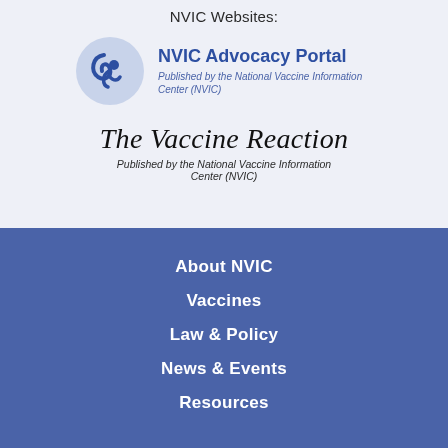NVIC Websites:
[Figure (logo): NVIC Advocacy Portal logo with blue swirl icon and text: NVIC Advocacy Portal, Published by the National Vaccine Information Center (NVIC)]
The Vaccine Reaction
Published by the National Vaccine Information Center (NVIC)
About NVIC
Vaccines
Law & Policy
News & Events
Resources